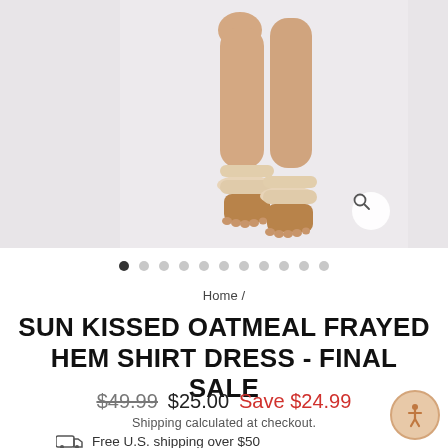[Figure (photo): E-commerce product page screenshot showing legs of a model wearing a white/cream frayed hem shirt dress and beige slide sandals against a light lavender-grey background. Three-panel carousel view with partial side panels visible.]
• • • • • • • • • • •
Home /
SUN KISSED OATMEAL FRAYED HEM SHIRT DRESS - FINAL SALE
$49.99  $25.00  Save $24.99
Shipping calculated at checkout.
Free U.S. shipping over $50